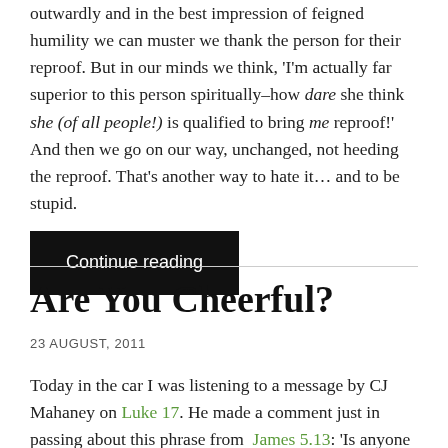outwardly and in the best impression of feigned humility we can muster we thank the person for their reproof. But in our minds we think, 'I'm actually far superior to this person spiritually–how dare she think she (of all people!) is qualified to bring me reproof!' And then we go on our way, unchanged, not heeding the reproof. That's another way to hate it… and to be stupid.
Continue reading
Are You Cheerful?
23 AUGUST, 2011
Today in the car I was listening to a message by CJ Mahaney on Luke 17. He made a comment just in passing about this phrase from James 5.13: 'Is anyone cheerful? Let him sing praises.'